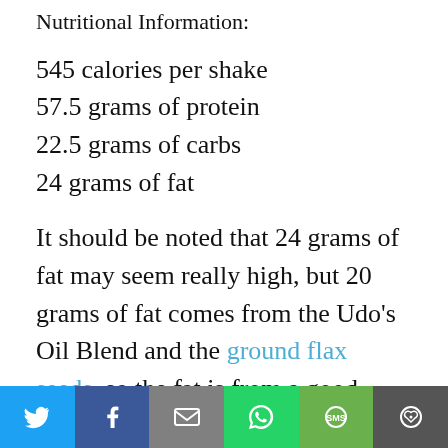Nutritional Information:
545 calories per shake
57.5 grams of protein
22.5 grams of carbs
24 grams of fat
It should be noted that 24 grams of fat may seem really high, but 20 grams of fat comes from the Udo's Oil Blend and the ground flax seeds, so the fat is from a good source. When going low carb the danger for men is that the
Social share bar: Twitter, Facebook, Email, WhatsApp, SMS, More